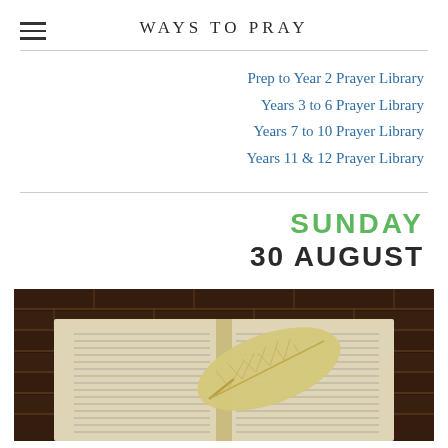WAYS TO PRAY
Prep to Year 2 Prayer Library
Years 3 to 6 Prayer Library
Years 7 to 10 Prayer Library
Years 11 & 12 Prayer Library
SUNDAY
30 AUGUST
[Figure (photo): Open Bible with a dried leaf resting on its pages, set against a brick wall background]